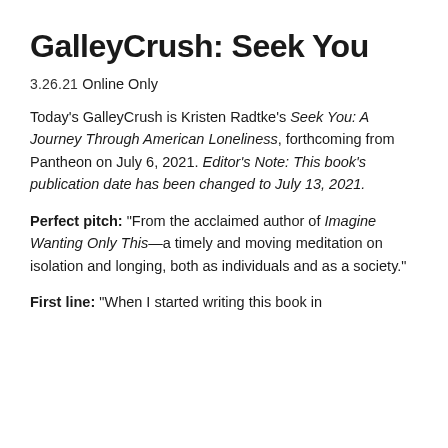GalleyCrush: Seek You
3.26.21
Online Only
Today’s GalleyCrush is Kristen Radtke’s Seek You: A Journey Through American Loneliness, forthcoming from Pantheon on July 6, 2021. Editor’s Note: This book’s publication date has been changed to July 13, 2021.
Perfect pitch: “From the acclaimed author of Imagine Wanting Only This—a timely and moving meditation on isolation and longing, both as individuals and as a society.”
First line: “When I started writing this book in